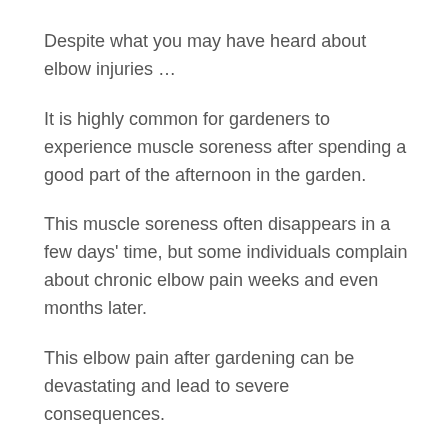Despite what you may have heard about elbow injuries …
It is highly common for gardeners to experience muscle soreness after spending a good part of the afternoon in the garden.
This muscle soreness often disappears in a few days' time, but some individuals complain about chronic elbow pain weeks and even months later.
This elbow pain after gardening can be devastating and lead to severe consequences.
The term often used to describe this painful elbow condition is gardener's elbow.
It occurs on the outside or inside of the elbow, having same symptoms like tennis elbow.